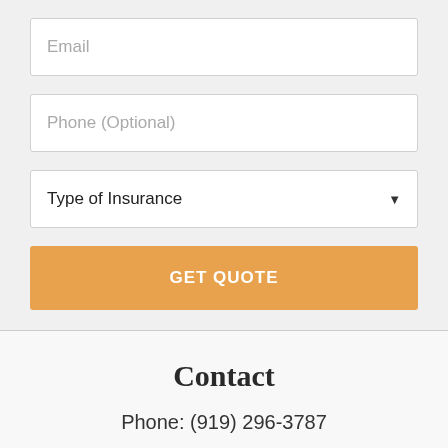Email
Phone (Optional)
Type of Insurance
GET QUOTE
Contact
Phone: (919) 296-3787